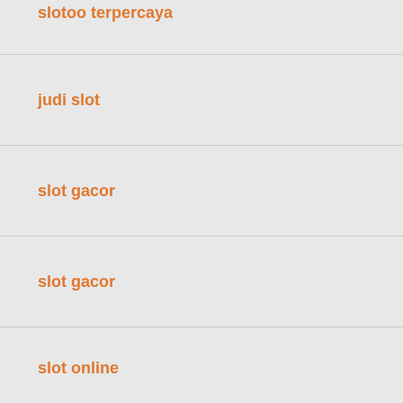slotoo terpercaya
judi slot
slot gacor
slot gacor
slot online